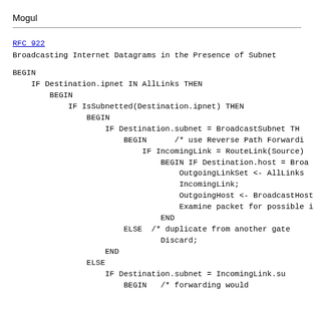Mogul
RFC 922
Broadcasting Internet Datagrams in the Presence of Subnet
BEGIN
    IF Destination.ipnet IN AllLinks THEN
        BEGIN
            IF IsSubnetted(Destination.ipnet) THEN
                BEGIN
                    IF Destination.subnet = BroadcastSubnet TH
                        BEGIN      /* use Reverse Path Forward:
                            IF IncomingLink = RouteLink(Source)
                                BEGIN IF Destination.host = Broa
                                    OutgoingLinkSet <- AllLinks
                                    IncomingLink;
                                    OutgoingHost <- BroadcastHost,
                                    Examine packet for possible i
                                END
                        ELSE  /* duplicate from another gate
                                Discard;
                    END
                ELSE
                    IF Destination.subnet = IncomingLink.su
                        BEGIN   /* forwarding would